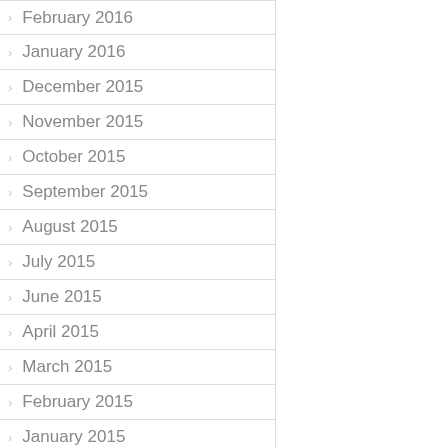February 2016
January 2016
December 2015
November 2015
October 2015
September 2015
August 2015
July 2015
June 2015
April 2015
March 2015
February 2015
January 2015
December 2014
November 2014
October 2014